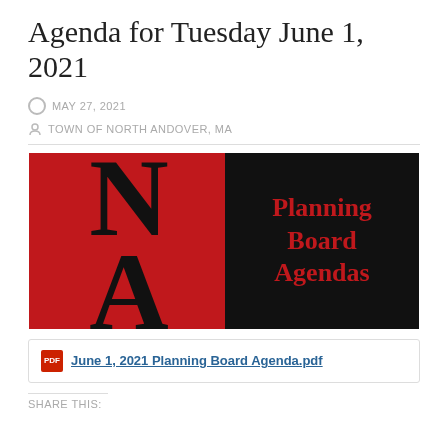Agenda for Tuesday June 1, 2021
MAY 27, 2021
TOWN OF NORTH ANDOVER, MA
[Figure (logo): North Andover Planning Board Agendas logo. Left half: red background with large black 'NA' letters. Right half: black background with red serif text reading 'Planning Board Agendas'.]
June 1, 2021 Planning Board Agenda.pdf
Share this: